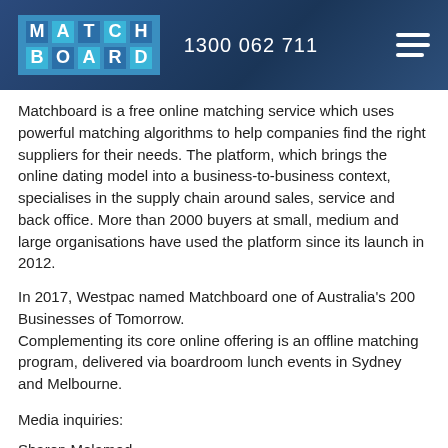[Figure (logo): Matchboard logo: tiled letter blocks spelling MATCH BOARD in blue/cyan on blue background, with phone number 1300 062 711 and hamburger menu icon]
Matchboard is a free online matching service which uses powerful matching algorithms to help companies find the right suppliers for their needs. The platform, which brings the online dating model into a business-to-business context, specialises in the supply chain around sales, service and back office. More than 2000 buyers at small, medium and large organisations have used the platform since its launch in 2012.
In 2017, Westpac named Matchboard one of Australia's 200 Businesses of Tomorrow.
Complementing its core online offering is an offline matching program, delivered via boardroom lunch events in Sydney and Melbourne.
Media inquiries:
Sharon Melamed